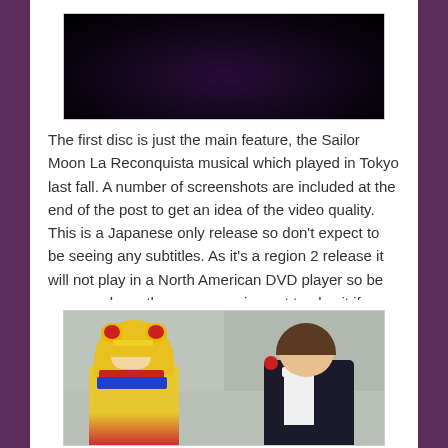[Figure (photo): Dark image at top of page, partial view showing bottom portion of a dark theatrical/action scene]
The first disc is just the main feature, the Sailor Moon La Reconquista musical which played in Tokyo last fall. A number of screenshots are included at the end of the post to get an idea of the video quality. This is a Japanese only release so don't expect to be seeing any subtitles. As it's a region 2 release it will not play in a North American DVD player so be sure you have the proper equipment to play it if you are thinking of purchasing it.
[Figure (photo): Two performers posing together: on the left a person in Sailor Moon costume with blonde twin-tail wig and red accessories, on the right a person in formal black tuxedo with white bow tie and red rose boutonniere, both smiling, standing in front of a grey paneled background]